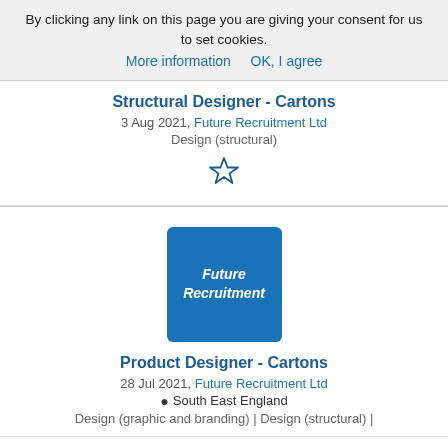By clicking any link on this page you are giving your consent for us to set cookies. More information  OK, I agree
Structural Designer - Cartons
3 Aug 2021, Future Recruitment Ltd
Design (structural)
[Figure (illustration): Star outline icon (bookmark/favourite)]
[Figure (logo): Future Recruitment company logo — blue rounded square with white italic text 'Future Recruitment']
Product Designer - Cartons
28 Jul 2021, Future Recruitment Ltd
South East England
Design (graphic and branding) | Design (structural) |